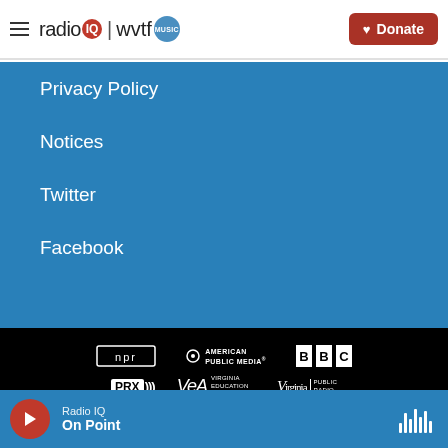radio IQ | wvtf music — Donate
Privacy Policy
Notices
Twitter
Facebook
[Figure (logo): NPR, American Public Media, BBC, PRX, VEA Virginia Education Association, Virginia Public Radio logos on black background]
Radio IQ — On Point